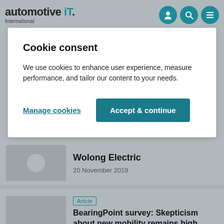automotive IT. International
Cookie consent
We use cookies to enhance user experience, measure performance, and tailor our content to your needs.
Manage cookies
Accept & continue
Wolong Electric
20 November 2019
Article
BearingPoint survey: Skepticism about new mobility remains high
19 November 2019